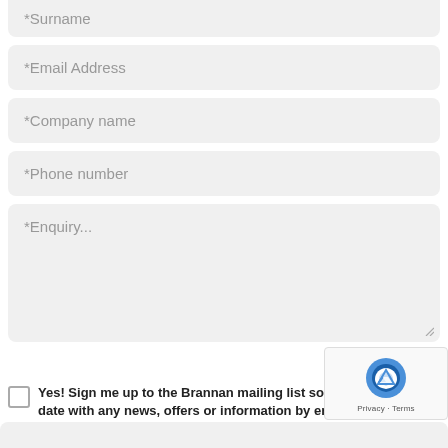*Surname
*Email Address
*Company name
*Phone number
*Enquiry...
Yes! Sign me up to the Brannan mailing list so I can keep up to date with any news, offers or information by email.